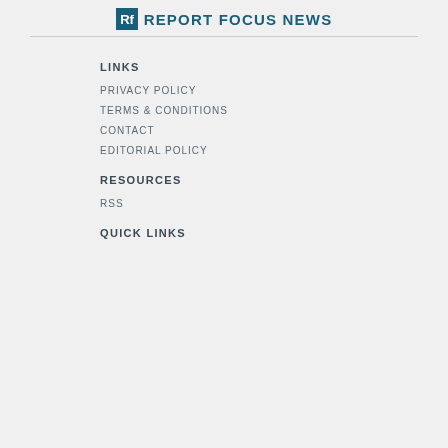RF REPORT FOCUS NEWS
LINKS
PRIVACY POLICY
TERMS & CONDITIONS
CONTACT
EDITORIAL POLICY
RESOURCES
RSS
QUICK LINKS